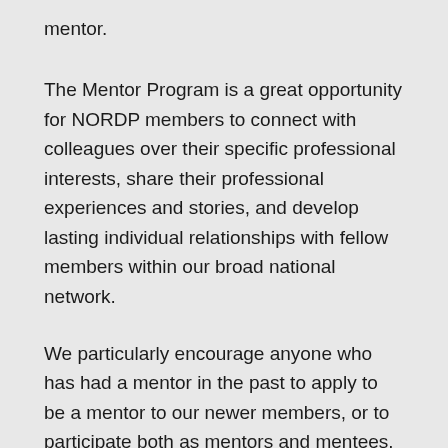mentor.
The Mentor Program is a great opportunity for NORDP members to connect with colleagues over their specific professional interests, share their professional experiences and stories, and develop lasting individual relationships with fellow members within our broad national network.
We particularly encourage anyone who has had a mentor in the past to apply to be a mentor to our newer members, or to participate both as mentors and mentees. New this year is also the opportunity to join small Community of Practice groups that bring together people with a similar set of specific discussion interests. Mentoring